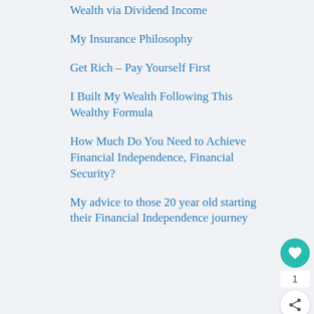Wealth via Dividend Income
My Insurance Philosophy
Get Rich – Pay Yourself First
I Built My Wealth Following This Wealthy Formula
How Much Do You Need to Achieve Financial Independence, Financial Security?
My advice to those 20 year old starting their Financial Independence journey